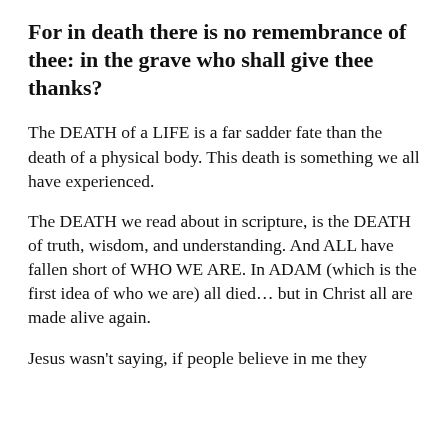For in death there is no remembrance of thee: in the grave who shall give thee thanks?
The DEATH of a LIFE is a far sadder fate than the death of a physical body. This death is something we all have experienced.
The DEATH we read about in scripture, is the DEATH of truth, wisdom, and understanding. And ALL have fallen short of WHO WE ARE. In ADAM (which is the first idea of who we are) all died… but in Christ all are made alive again.
Jesus wasn't saying, if people believe in me they